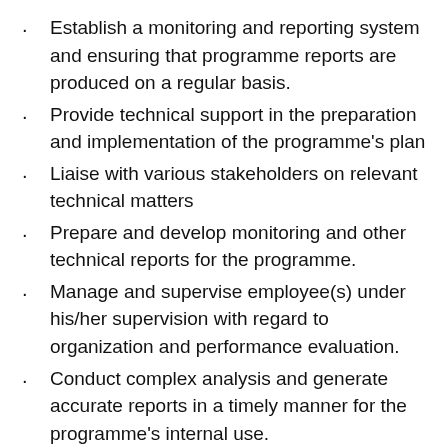Establish a monitoring and reporting system and ensuring that programme reports are produced on a regular basis.
Provide technical support in the preparation and implementation of the programme's plan
Liaise with various stakeholders on relevant technical matters
Prepare and develop monitoring and other technical reports for the programme.
Manage and supervise employee(s) under his/her supervision with regard to organization and performance evaluation.
Conduct complex analysis and generate accurate reports in a timely manner for the programme's internal use.
Liaise with the various Departments/Units of the Organisation for coordination and liaison purposes.